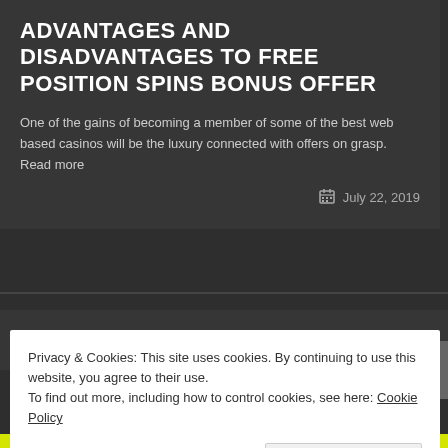ADVANTAGES AND DISADVANTAGES TO FREE POSITION SPINS BONUS OFFER
One of the gains of becoming a member of some of the best web based casinos will be the luxury connected with offers on grasp. Read more
July 22, 2019
Working with Scholars with ADD
Privacy & Cookies: This site uses cookies. By continuing to use this website, you agree to their use.
To find out more, including how to control cookies, see here: Cookie Policy